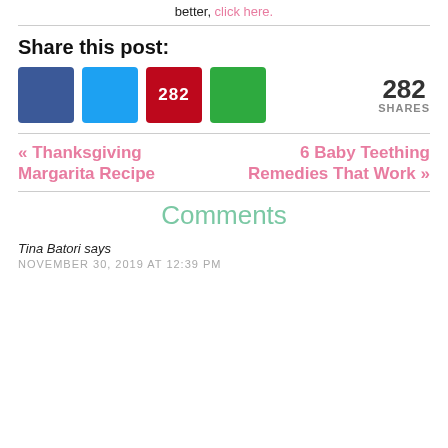better, click here.
Share this post:
[Figure (infographic): Social share buttons: Facebook (blue), Twitter (light blue), Pinterest with count 282 (red), and a green share button. Share count: 282 SHARES displayed to the right.]
« Thanksgiving Margarita Recipe
6 Baby Teething Remedies That Work »
Comments
Tina Batori says
NOVEMBER 30, 2019 AT 12:39 PM